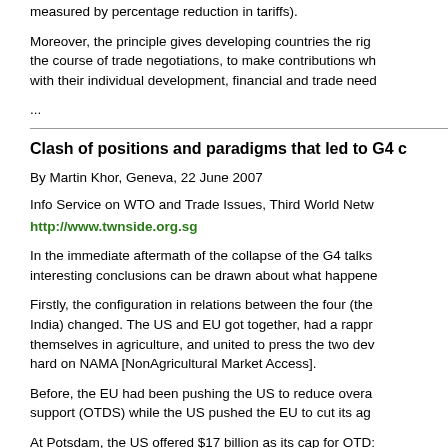measured by percentage reduction in tariffs).
Moreover, the principle gives developing countries the right, during the course of trade negotiations, to make contributions which are consistent with their individual development, financial and trade needs.
...
Clash of positions and paradigms that led to G4 c
By Martin Khor, Geneva, 22 June 2007
Info Service on WTO and Trade Issues, Third World Netw
http://www.twnside.org.sg
In the immediate aftermath of the collapse of the G4 talks, interesting conclusions can be drawn about what happened.
Firstly, the configuration in relations between the four (the India) changed. The US and EU got together, had a rappr themselves in agriculture, and united to press the two dev hard on NAMA [NonAgricultural Market Access].
Before, the EU had been pushing the US to reduce overa support (OTDS) while the US pushed the EU to cut its ag
At Potsdam, the US offered $17 billion as its cap for OTD: $15 billion the EU had asked for and the $12 billion dema EU offered an average tariff cut of 50% in farm tariffs (bel by the G20 and far below the 60% demanded by the US).
The EU and US were amenable to each other's "lowering "fareing each other's sins." And then they combined to